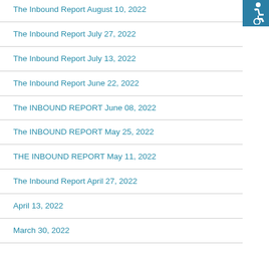[Figure (logo): Accessibility icon - white wheelchair symbol on teal/blue background square]
The Inbound Report August 10, 2022
The Inbound Report July 27, 2022
The Inbound Report July 13, 2022
The Inbound Report June 22, 2022
The INBOUND REPORT June 08, 2022
The INBOUND REPORT May 25, 2022
THE INBOUND REPORT May 11, 2022
The Inbound Report April 27, 2022
April 13, 2022
March 30, 2022